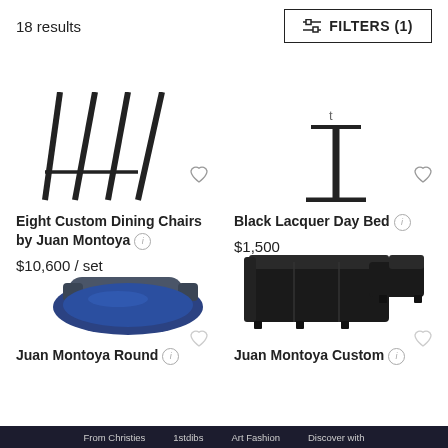18 results
FILTERS (1)
[Figure (photo): Bottom legs of Eight Custom Dining Chairs by Juan Montoya — black angled chair legs visible]
[Figure (photo): Black Lacquer Day Bed — top-down view of a black lacquer table/bed base]
Eight Custom Dining Chairs by Juan Montoya
$10,600 / set
Black Lacquer Day Bed
$1,500
[Figure (photo): Juan Montoya Round day bed / chaise with blue circular cushion]
[Figure (photo): Juan Montoya Custom dark leather sectional sofa]
Juan Montoya Round
Juan Montoya Custom